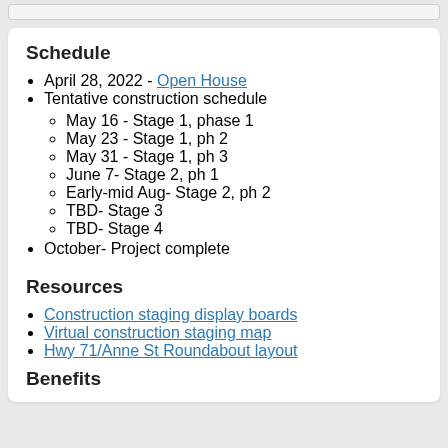Schedule
April 28, 2022 - Open House
Tentative construction schedule
May 16 - Stage 1, phase 1
May 23 - Stage 1, ph 2
May 31 - Stage 1, ph 3
June 7- Stage 2, ph 1
Early-mid Aug- Stage 2, ph 2
TBD- Stage 3
TBD- Stage 4
October- Project complete
Resources
Construction staging display boards
Virtual construction staging map
Hwy 71/Anne St Roundabout layout
Benefits